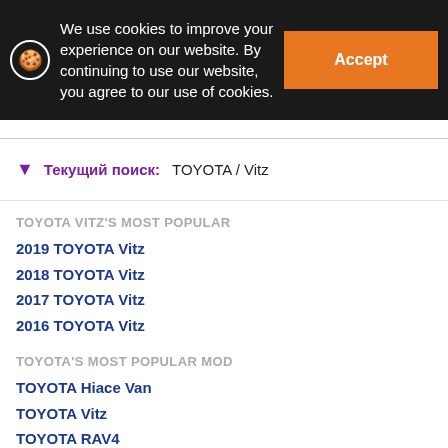We use cookies to improve your experience on our website. By continuing to use our website, you agree to our use of cookies.
Accept
Текущий поиск: TOYOTA / Vitz
TOYOTA VITZ'S MOST POPULAR
2019 TOYOTA Vitz
2018 TOYOTA Vitz
2017 TOYOTA Vitz
2016 TOYOTA Vitz
TOYOTA'S MOST POPULAR MOD
TOYOTA Hiace Van
TOYOTA Vitz
TOYOTA RAV4